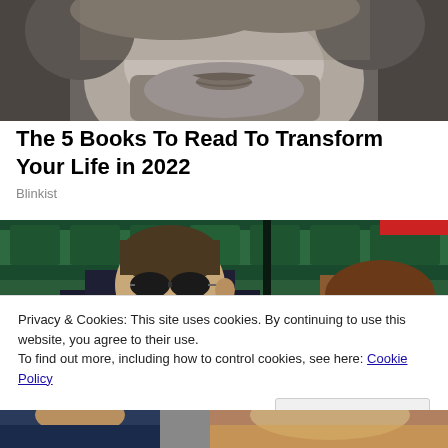[Figure (photo): Black and white close-up photo of a man's lower face with beard and hair]
The 5 Books To Read To Transform Your Life in 2022
Blinkist
[Figure (photo): Color photo of a man with sunglasses and a woman sitting in stadium seating with green chairs]
Privacy & Cookies: This site uses cookies. By continuing to use this website, you agree to their use.
To find out more, including how to control cookies, see here: Cookie Policy
Close and accept
[Figure (photo): Bottom strip of a photo showing people at an outdoor event]